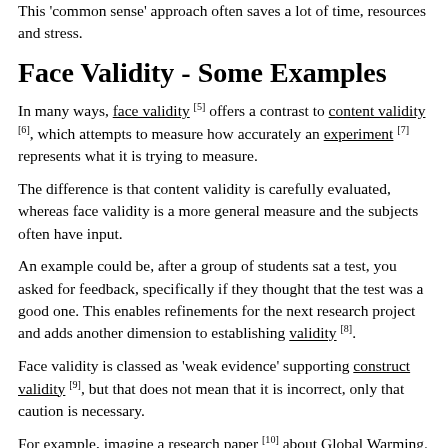This 'common sense' approach often saves a lot of time, resources and stress.
Face Validity - Some Examples
In many ways, face validity [5] offers a contrast to content validity [6], which attempts to measure how accurately an experiment [7] represents what it is trying to measure.
The difference is that content validity is carefully evaluated, whereas face validity is a more general measure and the subjects often have input.
An example could be, after a group of students sat a test, you asked for feedback, specifically if they thought that the test was a good one. This enables refinements for the next research project and adds another dimension to establishing validity [8].
Face validity is classed as 'weak evidence' supporting construct validity [9], but that does not mean that it is incorrect, only that caution is necessary.
For example, imagine a research paper [10] about Global Warming. A layperson could read through it and think that